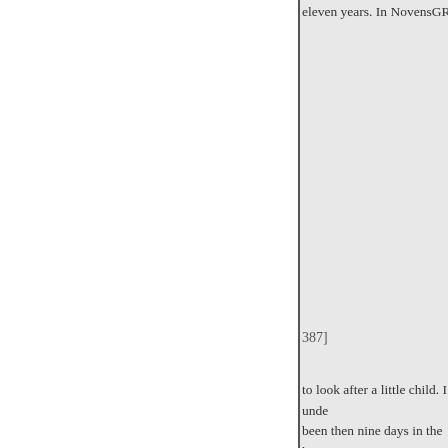eleven years. In NovensGRÉNV
387]
to look after a little child. I unde been then nine days in the house Ladies, I think I am a Surgeon a and was appointed the Surgeon a Princess of Wales in 1801. From Royal Highness Princess. I some Princess before she was up, and bed. The child had a mark on the of wine, but is not recollect that respecting the Princess of Wales thonghts, while I attended the co pregnant; I never said dress the d have bled she has seen me do it. with the Princess as he was.
in 1802, and it was in the June o